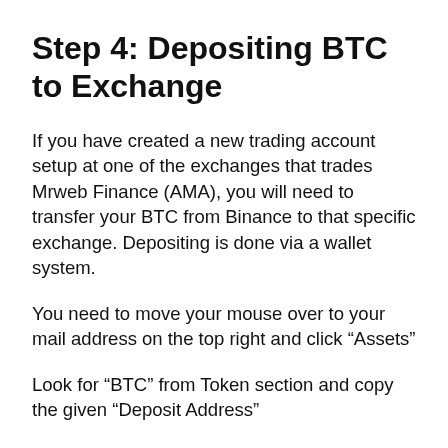Step 4: Depositing BTC to Exchange
If you have created a new trading account setup at one of the exchanges that trades Mrweb Finance (AMA), you will need to transfer your BTC from Binance to that specific exchange. Depositing is done via a wallet system.
You need to move your mouse over to your mail address on the top right and click “Assets”
Look for “BTC” from Token section and copy the given “Deposit Address”